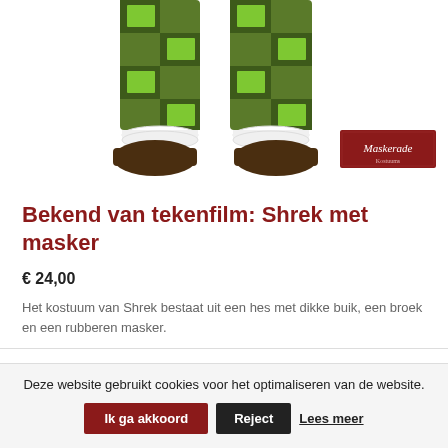[Figure (photo): Lower half of a Shrek costume showing green and brown checkered pants, brown shoes with white frilly cuffs at ankles, on a white background. Maskerade logo in bottom-right corner.]
Bekend van tekenfilm: Shrek met masker
€ 24,00
Het kostuum van Shrek bestaat uit een hes met dikke buik, een broek en een rubberen masker.
Deze website gebruikt cookies voor het optimaliseren van de website.